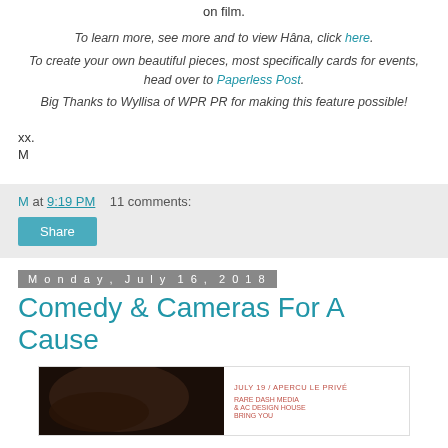on film.
To learn more, see more and to view Hâna, click here.
To create your own beautiful pieces, most specifically cards for events, head over to Paperless Post.
Big Thanks to Wyllisa of WPR PR for making this feature possible!
xx.
M
M at 9:19 PM   11 comments:
Share
Monday, July 16, 2018
Comedy & Cameras For A Cause
[Figure (photo): Event flyer image with dark photo on left showing 'FAIR' text vertically, and text on right listing event details in red/coral color]